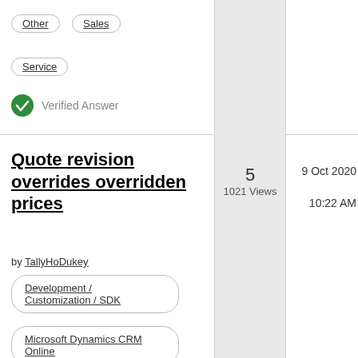Other
Sales
Service
Verified Answer
Quote revision overrides overridden prices
by TallyHoDukey
5
1021 Views
9 Oct 2020
10:22 AM
Development / Customization / SDK
Microsoft Dynamics CRM Online